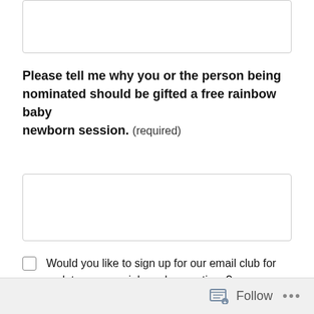[Figure (other): Empty text input box at the top of the page]
Please tell me why you or the person being nominated should be gifted a free rainbow baby newborn session. (required)
[Figure (other): Large empty textarea input box]
Would you like to sign up for our email club for updates on specials and promotions?
[Figure (other): Submit button with golden-brown background]
Follow ...